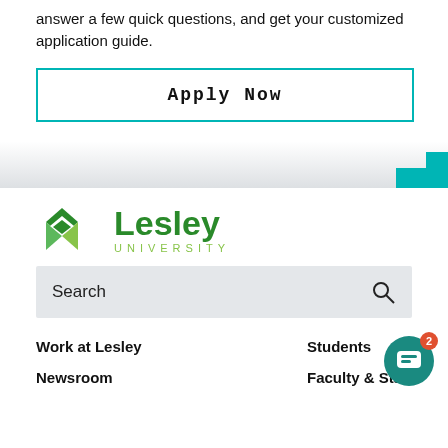answer a few quick questions, and get your customized application guide.
Apply Now
[Figure (logo): Lesley University logo with green diamond icon and green text]
Search
Work at Lesley
Students
Newsroom
Faculty & Staff